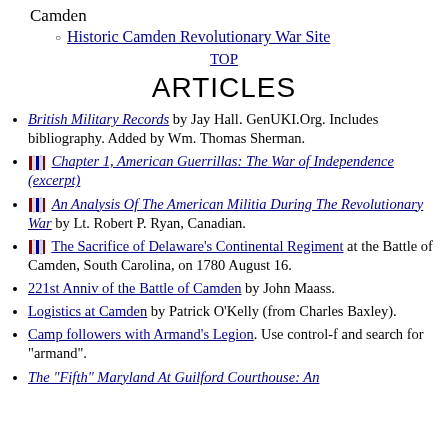Camden
Historic Camden Revolutionary War Site
TOP
ARTICLES
British Military Records by Jay Hall. GenUKI.Org. Includes bibliography. Added by Wm. Thomas Sherman.
[book icon] Chapter 1, American Guerrillas: The War of Independence (excerpt)
[book icon] An Analysis Of The American Militia During The Revolutionary War by Lt. Robert P. Ryan, Canadian.
[book icon] The Sacrifice of Delaware's Continental Regiment at the Battle of Camden, South Carolina, on 1780 August 16.
221st Anniv of the Battle of Camden by John Maass.
Logistics at Camden by Patrick O'Kelly (from Charles Baxley).
Camp followers with Armand's Legion. Use control-f and search for "armand".
The "Fifth" Maryland At Guilford Courthouse: An